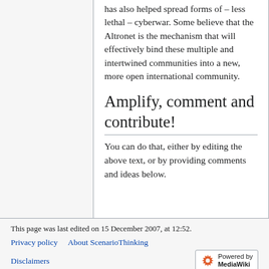has also helped spread forms of – less lethal – cyberwar. Some believe that the Altronet is the mechanism that will effectively bind these multiple and intertwined communities into a new, more open international community.
Amplify, comment and contribute!
You can do that, either by editing the above text, or by providing comments and ideas below.
This page was last edited on 15 December 2007, at 12:52.
Privacy policy   About ScenarioThinking   Disclaimers   Powered by MediaWiki